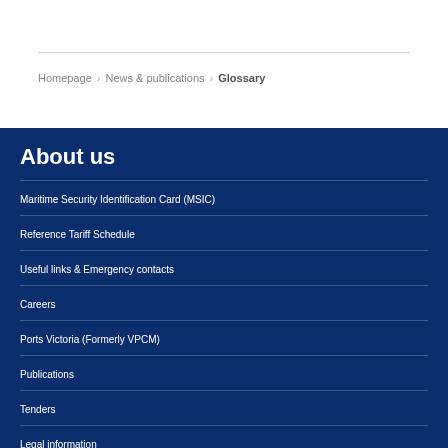Homepage > News & publications > Glossary
About us
Maritime Security Identification Card (MSIC)
Reference Tariff Schedule
Useful links & Emergency contacts
Careers
Ports Victoria (Formerly VPCM)
Publications
Tenders
Legal information